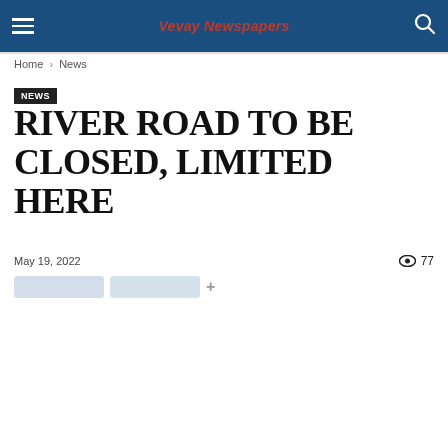Vevay Newspapers
Home › News
NEWS
RIVER ROAD TO BE CLOSED, LIMITED HERE
May 19, 2022   77 views